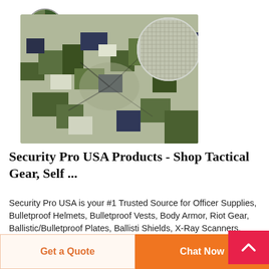[Figure (logo): DEEKON brand logo — circular emblem with D letter and green/red camo ring design, with DEEKON text in red below]
[Figure (photo): Digital camouflage fabric in green, grey, and navy pixel pattern, bunched/twisted at center, with a circular zoom inset showing the fabric texture closeup in the upper right]
Security Pro USA Products - Shop Tactical Gear, Self ...
Security Pro USA is your #1 Trusted Source for Officer Supplies, Bulletproof Helmets, Bulletproof Vests, Body Armor, Riot Gear, Ballistic/Bulletproof Plates, Ballistic Shields, X-Ray Scanners, Metal Detectors, Scopes, Ca...
Get a Quote
Chat Now